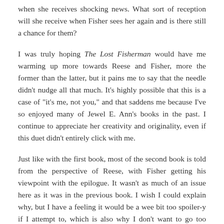when she receives shocking news. What sort of reception will she receive when Fisher sees her again and is there still a chance for them?
I was truly hoping The Lost Fisherman would have me warming up more towards Reese and Fisher, more the former than the latter, but it pains me to say that the needle didn't nudge all that much. It's highly possible that this is a case of "it's me, not you," and that saddens me because I've so enjoyed many of Jewel E. Ann's books in the past. I continue to appreciate her creativity and originality, even if this duet didn't entirely click with me.
Just like with the first book, most of the second book is told from the perspective of Reese, with Fisher getting his viewpoint with the epilogue. It wasn't as much of an issue here as it was in the previous book. I wish I could explain why, but I have a feeling it would be a wee bit too spoiler-y if I attempt to, which is also why I don't want to go too much into detail story-wise. Taking everything into consideration, The Lost Fisherman gets 3.5 stars.
- - - - - - - - - - - - - - - - - - - - - - - - - -